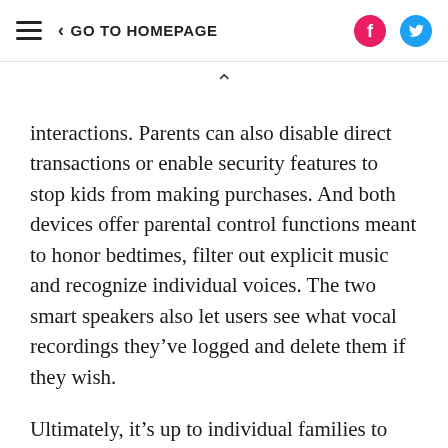≡  < GO TO HOMEPAGE
interactions. Parents can also disable direct transactions or enable security features to stop kids from making purchases. And both devices offer parental control functions meant to honor bedtimes, filter out explicit music and recognize individual voices. The two smart speakers also let users see what vocal recordings they've logged and delete them if they wish.
Ultimately, it's up to individual families to decide if Google Home or Amazon Echo are right for their households. Of course, Alexa and the Google Assistant don't replace actual parenting, but they can